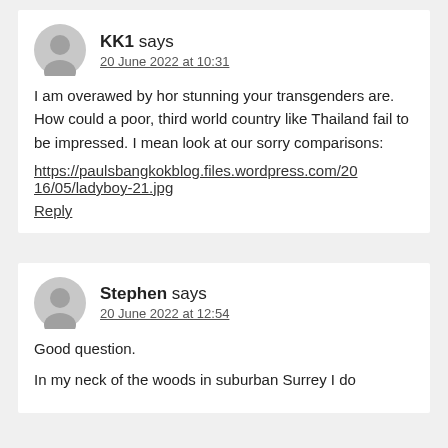KK1 says
20 June 2022 at 10:31
I am overawed by hor stunning your transgenders are. How could a poor, third world country like Thailand fail to be impressed. I mean look at our sorry comparisons:
https://paulsbangkokblog.files.wordpress.com/2016/05/ladyboy-21.jpg
Reply
Stephen says
20 June 2022 at 12:54
Good question.
In my neck of the woods in suburban Surrey I do